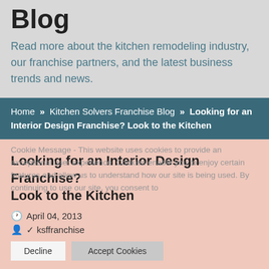Blog
Read more about the kitchen remodeling industry, our franchise partners, and the latest business trends and news.
Home >> Kitchen Solvers Franchise Blog >> Looking for an Interior Design Franchise? Look to the Kitchen
Looking for an Interior Design Franchise? Look to the Kitchen
April 04, 2013
ksffranchise
Cookie Message - This website uses cookies to provide an exceptional user experience. Cookies enable you to enjoy certain features and allow us to understand how our site is being used. By continuing to use our site, you consent to
A beautiful kitchen is at the top of most homeowners' remodeling to-do list, and a talented interior designer is perfect for directing the transformation.